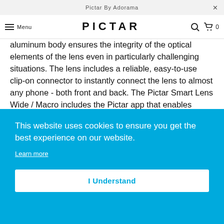Pictar By Adorama
aluminum body ensures the integrity of the optical elements of the lens even in particularly challenging situations. The lens includes a reliable, easy-to-use clip-on connector to instantly connect the lens to almost any phone - both front and back. The Pictar Smart Lens Wide / Macro includes the Pictar app that enables precise and easy adjustment of the lens to the body of the phone, 20 ... ers of ... t ... h
This website uses cookies to ensure you get the best experience on our website.
Learn more
I Understand